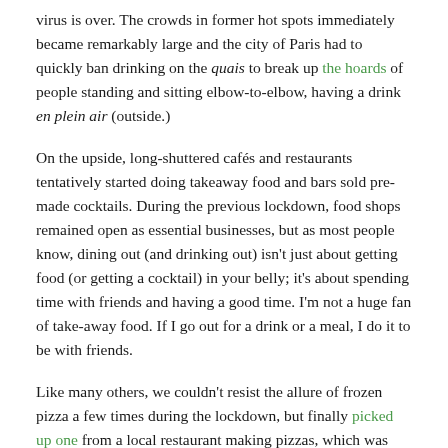virus is over. The crowds in former hot spots immediately became remarkably large and the city of Paris had to quickly ban drinking on the quais to break up the hoards of people standing and sitting elbow-to-elbow, having a drink en plein air (outside.)
On the upside, long-shuttered cafés and restaurants tentatively started doing takeaway food and bars sold pre-made cocktails. During the previous lockdown, food shops remained open as essential businesses, but as most people know, dining out (and drinking out) isn't just about getting food (or getting a cocktail) in your belly; it's about spending time with friends and having a good time. I'm not a huge fan of take-away food. If I go out for a drink or a meal, I do it to be with friends.
Like many others, we couldn't resist the allure of frozen pizza a few times during the lockdown, but finally picked up one from a local restaurant making pizzas, which was fine, but was cold by the time we brought it home. I did make the Cojean Cheesecake from Klea Aslan. Flavour which ...